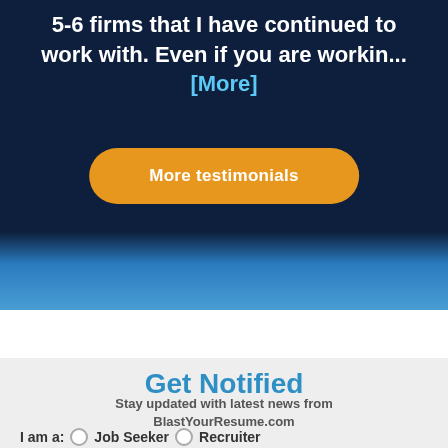5-6 firms that I have continued to work with. Even if you are workin... [More]
More testimonials
[Figure (illustration): Blue gradient background strip transitioning from dark navy to medium blue]
Get Notified
Stay updated with latest news from BlastYourResume.com
I am a:  Job Seeker  Recruiter